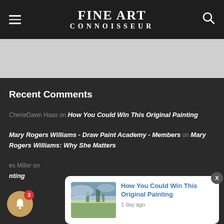FINE ART CONNOISSEUR
Recent Comments
CherieDawn Haas on How You Could Win This Original Painting
Mary Rogers Williams - Draw Paint Academy - Members on Mary Rogers Williams: Why She Matters
es Miller on inting
[Figure (screenshot): Notification popup showing 'How You Could Win This Original Painting' article with landscape painting thumbnail and '1 day ago' timestamp]
[Figure (other): Bell notification button with badge showing count 3]